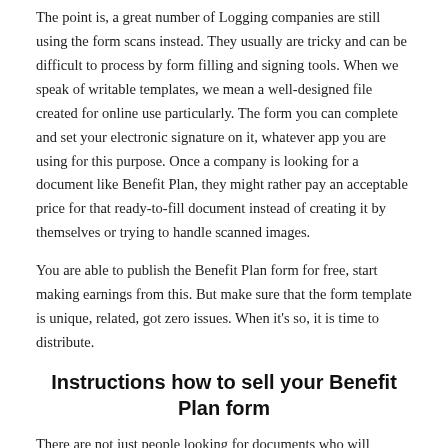The point is, a great number of Logging companies are still using the form scans instead. They usually are tricky and can be difficult to process by form filling and signing tools. When we speak of writable templates, we mean a well-designed file created for online use particularly. The form you can complete and set your electronic signature on it, whatever app you are using for this purpose. Once a company is looking for a document like Benefit Plan, they might rather pay an acceptable price for that ready-to-fill document instead of creating it by themselves or trying to handle scanned images.
You are able to publish the Benefit Plan form for free, start making earnings from this. But make sure that the form template is unique, related, got zero issues. When it's so, it is time to distribute.
Instructions how to sell your Benefit Plan form
There are not just people looking for documents who will benefit from using SellMyForms easily. We care about your experience so your distribution is done within minutes. It matters to us that this process requires as few actions as possible. Currently, all you need to do is:
[1]   Get profile on SellMyForms, for free. You don't need to pay anything